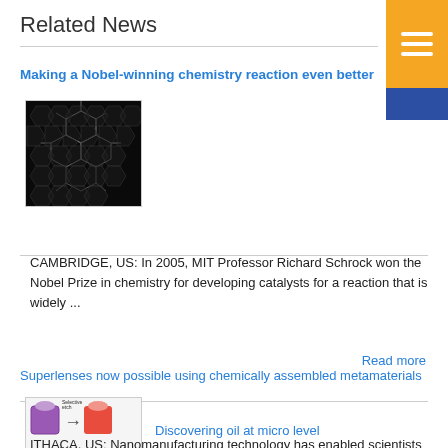Related News
Making a Nobel-winning chemistry reaction even better
[Figure (photo): Dark background with molecular/hexagonal structure illustration]
CAMBRIDGE, US: In 2005, MIT Professor Richard Schrock won the Nobel Prize in chemistry for developing catalysts for a reaction that is widely ...
Read more
Superlenses now possible using chemically assembled metamaterials
[Figure (illustration): Colorful nanomaterial fabrication process diagram with pink/purple, red, yellow and orange cube/particle structures]
Discovering oil at micro level
ITHACA, US: Nanomanufacturing technology has enabled scientists